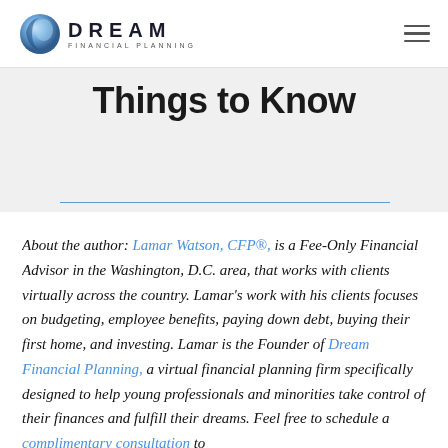DREAM FINANCIAL PLANNING
Things to Know
About the author: Lamar Watson, CFP®, is a Fee-Only Financial Advisor in the Washington, D.C. area, that works with clients virtually across the country. Lamar's work with his clients focuses on budgeting, employee benefits, paying down debt, buying their first home, and investing. Lamar is the Founder of Dream Financial Planning, a virtual financial planning firm specifically designed to help young professionals and minorities take control of their finances and fulfill their dreams. Feel free to schedule a complimentary consultation to learn more on the The DREAM Financial Planning Base™